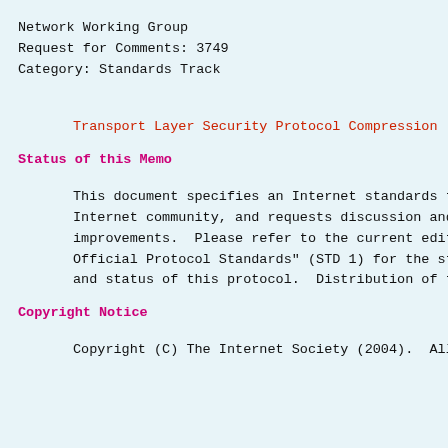Network Working Group
Request for Comments: 3749
Category: Standards Track
Transport Layer Security Protocol Compression
Status of this Memo
This document specifies an Internet standards track
Internet community, and requests discussion and sugg
improvements.  Please refer to the current edition o
Official Protocol Standards" (STD 1) for the standar
and status of this protocol.  Distribution of this m
Copyright Notice
Copyright (C) The Internet Society (2004).  All Righ